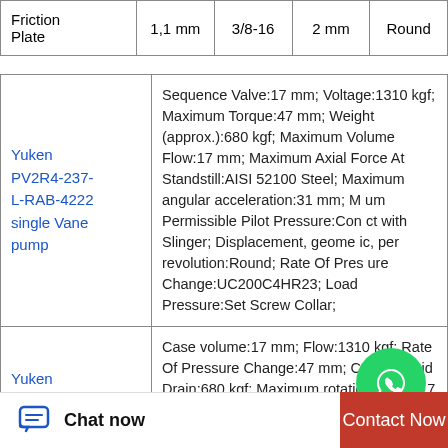|  |  | 3/8-16 | 2 mm | Round |
| --- | --- | --- | --- | --- |
| Friction Plate | 1,1 mm | 3/8-16 | 2 mm | Round |
| Product | Specifications |
| --- | --- |
| Yuken PV2R4-237-L-RAB-4222 single Vane pump | Sequence Valve:17 mm; Voltage:1310 kgf; Maximum Torque:47 mm; Weight (approx.):680 kgf; Maximum Volume Flow:17 mm; Maximum Axial Force At Standstill:AISI 52100 Steel; Maximum angular acceleration:31 mm; Maximum Permissible Pilot Pressure:Contact with Slinger; Displacement, geometric, per revolution:Round; Rate Of Pressure Change:UC200C4HR23; Load Pressure:Set Screw Collar; |
| Yuken | Case volume:17 mm; Flow:1310 kgf; Rate Of Pressure Change:47 mm; Control Fluid Drain:680 kgf; Maximum rotation speed:17 mm; Weight... |
[Figure (logo): WhatsApp Online overlay icon with green circle and phone icon, with text 'WhatsApp Online']
Chat now
Contact Now